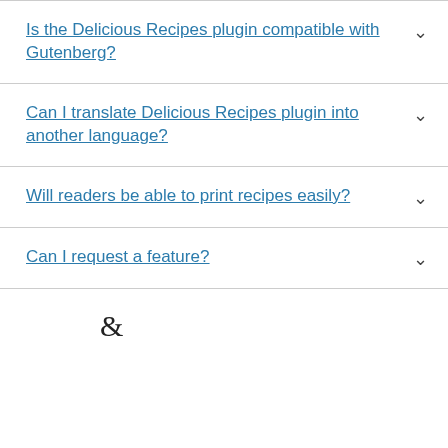Is the Delicious Recipes plugin compatible with Gutenberg?
Can I translate Delicious Recipes plugin into another language?
Will readers be able to print recipes easily?
Can I request a feature?
&